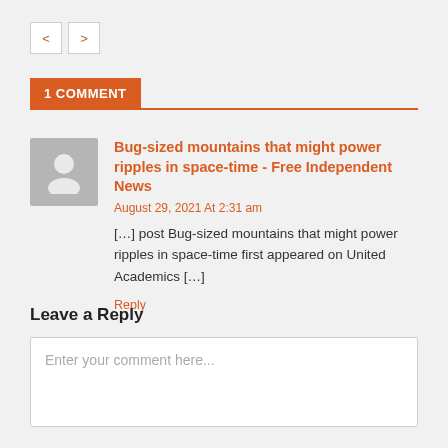[Figure (other): Navigation back/forward buttons (< and >) in small square boxes]
1 COMMENT
Bug-sized mountains that might power ripples in space-time - Free Independent News
August 29, 2021 At 2:31 am
[…] post Bug-sized mountains that might power ripples in space-time first appeared on United Academics […]
Reply
Leave a Reply
Enter your comment here...